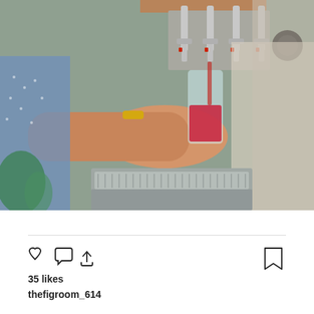[Figure (photo): A person's hand holding a glass being filled with a red/pink beverage from a tap system with multiple chrome beer/drink taps mounted on a wall. The person appears to be wearing a gold bracelet. Another person with blonde/silver hair is partially visible on the right side. A drip tray is visible at the bottom of the tap system.]
View more on Instagram
35 likes
thefigroom_614